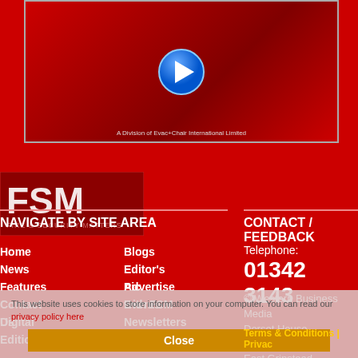[Figure (screenshot): Video player thumbnail with red background and blue play button. Text at bottom: 'A Division of Evac+Chair International Limited']
[Figure (logo): FSM Fire & Security Matters logo - white text on dark red/maroon background]
NAVIGATE BY SITE AREA
Home
News
Features
Contact Us
Digital Editions
Blogs
Editor's Pic
Advertise with FSM
Events
Newsletters
CONTACT / FEEDBACK
Telephone:
01342 3143
© Western Business Media
Dorset House
64 High Street
East Grinstead
West Sussex RH19 3DE
This website uses cookies to store information on your computer. You can read our privacy policy here
Close
Terms & Conditions | Privac